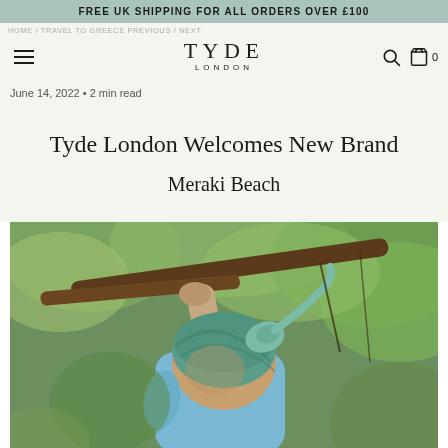FREE UK SHIPPING FOR ALL ORDERS OVER £100
HOME / TRAVEL TO GREECE PREVIOUS / NEXT
TYDE LONDON
June 14, 2022 • 2 min read
Tyde London Welcomes New Brand
Meraki Beach
[Figure (photo): A person wearing a blue top and a green/teal patterned head wrap, holding onto a tree branch outdoors with green foliage in the background.]